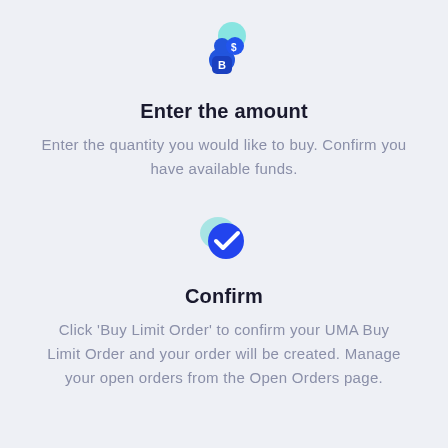[Figure (illustration): Icon of a person or figure with a Bitcoin bag and a coin, in blue tones]
Enter the amount
Enter the quantity you would like to buy. Confirm you have available funds.
[Figure (illustration): Blue circle with white checkmark, with a teal/mint shadow circle behind it]
Confirm
Click 'Buy Limit Order' to confirm your UMA Buy Limit Order and your order will be created. Manage your open orders from the Open Orders page.